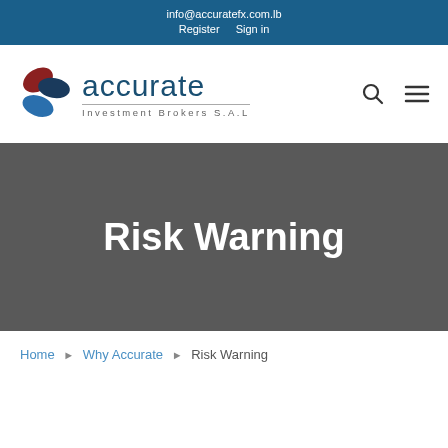info@accuratefx.com.lb
Register   Sign in
[Figure (logo): Accurate Investment Brokers S.A.L logo with colored leaf shapes (red, dark blue, blue) and company name]
Risk Warning
Home ▶ Why Accurate ▶ Risk Warning